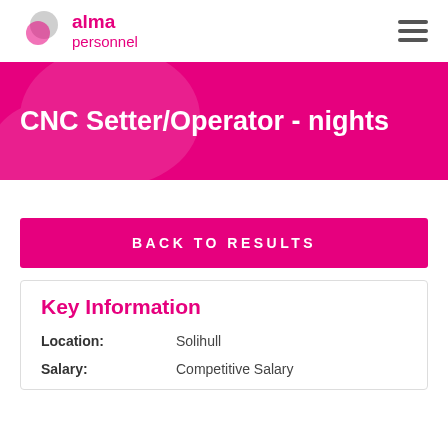alma personnel
CNC Setter/Operator - nights
BACK TO RESULTS
Key Information
Location: Solihull
Salary: Competitive Salary